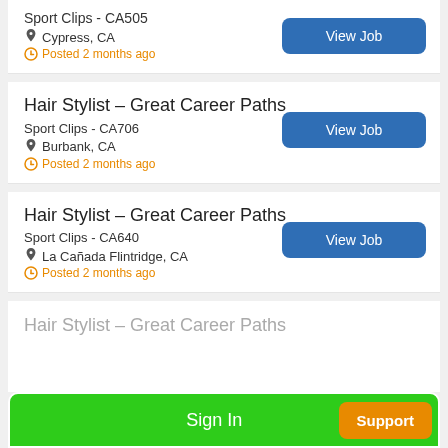Sport Clips - CA505 | Cypress, CA | Posted 2 months ago
Hair Stylist – Great Career Paths
Sport Clips - CA706 | Burbank, CA | Posted 2 months ago
Hair Stylist – Great Career Paths
Sport Clips - CA640 | La Cañada Flintridge, CA | Posted 2 months ago
Hair Stylist – Great Career Paths
Sign In
Support